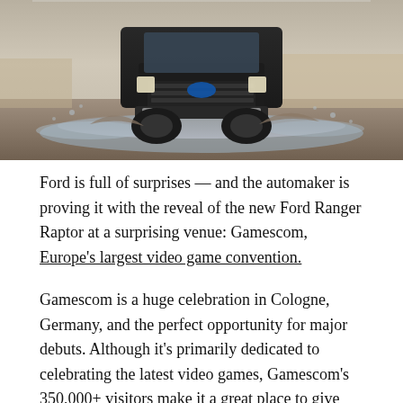[Figure (photo): A Ford Ranger Raptor truck driving through muddy terrain with water and gravel splashing around the vehicle, photographed from a low front angle.]
Ford is full of surprises — and the automaker is proving it with the reveal of the new Ford Ranger Raptor at a surprising venue: Gamescom, Europe's largest video game convention.
Gamescom is a huge celebration in Cologne, Germany, and the perfect opportunity for major debuts. Although it's primarily dedicated to celebrating the latest video games, Gamescom's 350,000+ visitors make it a great place to give the new Ranger Raptor lots of attention.
There's a specific reason why Ford chose the Ranger